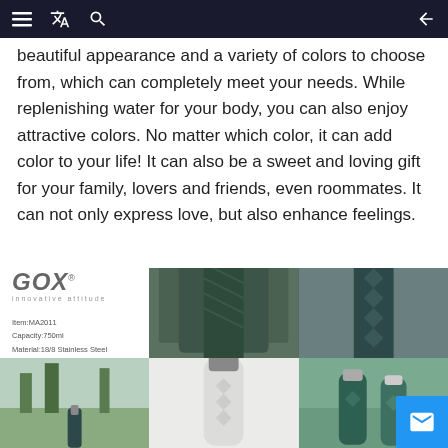Navigation bar with menu, translate, search, and back icons
beautiful appearance and a variety of colors to choose from, which can completely meet your needs. While replenishing water for your body, you can also enjoy attractive colors. No matter which color, it can add color to your life! It can also be a sweet and loving gift for your family, lovers and friends, even roommates. It can not only express love, but also enhance feelings.
[Figure (photo): GOX branded water bottle product listing image showing logo, item details (Item:MA2011, Capacity:750ml, Material:18/8 Stainless Steel), and multiple product photos of dark green textured stainless steel water bottle in various outdoor settings.]